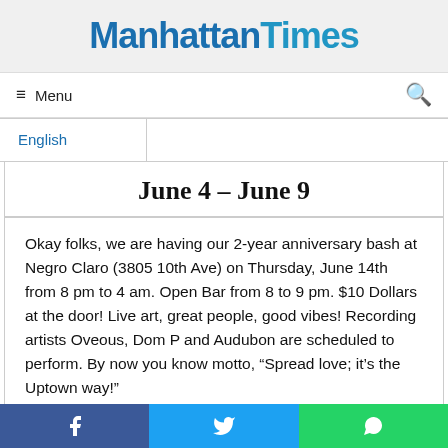Manhattan Times
Menu
English
June 4 – June 9
Okay folks, we are having our 2-year anniversary bash at Negro Claro (3805 10th Ave) on Thursday, June 14th from 8 pm to 4 am. Open Bar from 8 to 9 pm. $10 Dollars at the door! Live art, great people, good vibes! Recording artists Oveous, Dom P and Audubon are scheduled to perform. By now you know motto, “Spread love; it’s the Uptown way!”
Facebook | Twitter | WhatsApp